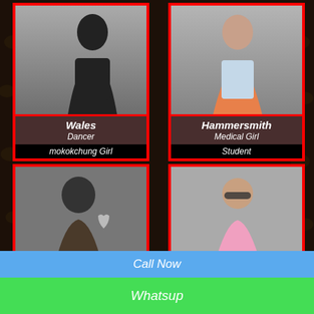[Figure (photo): Photo of woman in black outfit posing]
Wales
Dancer
mokokchung Girl
[Figure (photo): Photo of woman in colorful saree/outfit]
Hammersmith
Medical Girl
Student
[Figure (photo): Photo of young woman with heart earring]
[Figure (photo): Photo of woman in pink top with sunglasses]
Call Now
Whatsup